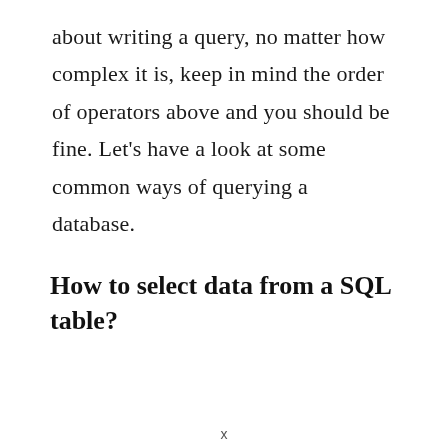about writing a query, no matter how complex it is, keep in mind the order of operators above and you should be fine. Let’s have a look at some common ways of querying a database.
How to select data from a SQL table?
x